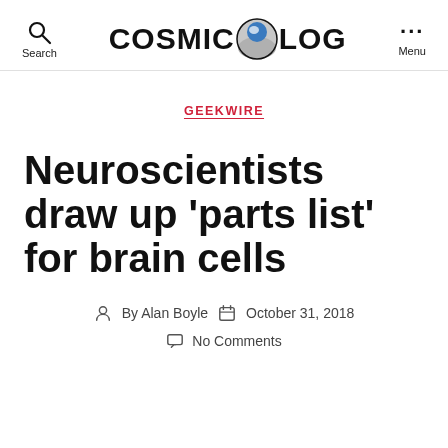Search  COSMIC LOG  Menu
GEEKWIRE
Neuroscientists draw up 'parts list' for brain cells
By Alan Boyle   October 31, 2018   No Comments